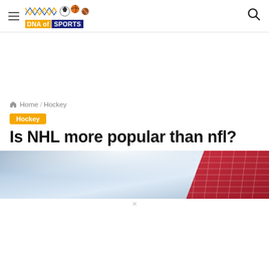DNA of SPORTS
Home / Hockey
Hockey
Is NHL more popular than nfl?
[Figure (photo): Hockey rink with ice surface and red goal net visible on the right side, with bright arena lighting]